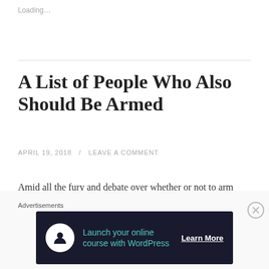Loading…
A List of People Who Also Should Be Armed
APRIL 19, 2018  /  LEAVE A COMMENT
Amid all the fury and debate over whether or not to arm high school teachers in order to prevent the next deadly shooting spree, several relevant employment categories are being overlooked. A review of other
Advertisements
[Figure (other): Advertisement banner: Launch your online course with WordPress — Learn More]